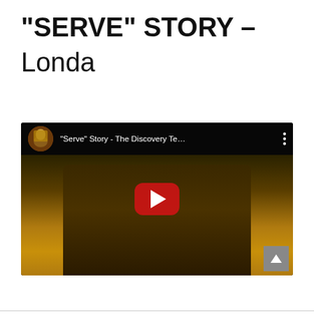“SERVE” STORY – Londa
[Figure (screenshot): Embedded YouTube video player showing "Serve" Story - The Discovery Te... with a person sitting in front of a wooden panel background, red play button in center, YouTube top bar with channel thumbnail and video title, and scroll-to-top button in bottom right corner.]